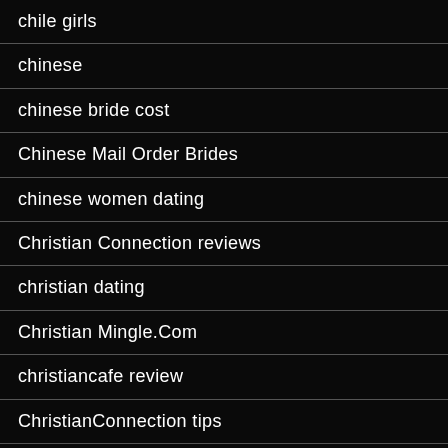chile girls
chinese
chinese bride cost
Chinese Mail Order Brides
chinese women dating
Christian Connection reviews
christian dating
Christian Mingle.Com
christiancafe review
ChristianConnection tips
citas-bbw app
citas-para-discapacitados opiniones
City Of Brides Russian